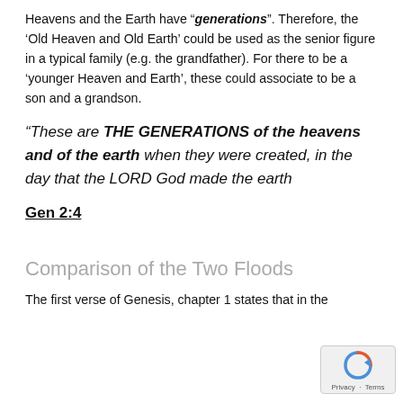Heavens and the Earth have "generations". Therefore, the 'Old Heaven and Old Earth' could be used as the senior figure in a typical family (e.g. the grandfather). For there to be a 'younger Heaven and Earth', these could associate to be a son and a grandson.
“These are THE GENERATIONS of the heavens and of the earth when they were created, in the day that the LORD God made the earth
Gen 2:4
Comparison of the Two Floods
The first verse of Genesis, chapter 1 states that in the